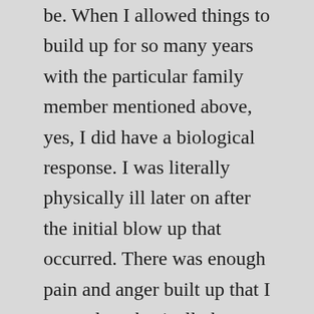be. When I allowed things to build up for so many years with the particular family member mentioned above, yes, I did have a biological response. I was literally physically ill later on after the initial blow up that occurred. There was enough pain and anger built up that I wanted to physically harm that person but luckily things did not escalate to that level. IF you let things build up to that level, you will have to deal with this kind of biological response. But this is (should be) a very rare occurrence. Most of the time it is more like the nervousness you’d feel for a job interview or a big competition. Everyone deals with this differently, but there are definitely things